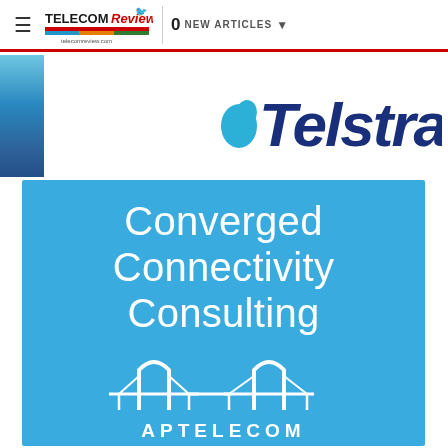≡  TELECOM Review  |  0 NEW ARTICLES ▾
[Figure (logo): Telstra logo in dark blue italic text with teal dot to the left, displayed on white background alongside a gradient blue phone graphic on the left edge]
[Figure (logo): APTelecom advertisement banner in sky blue with large white text reading 'Converged Connectivity Consulting' and the APTELECOM logo with bridge icon below]